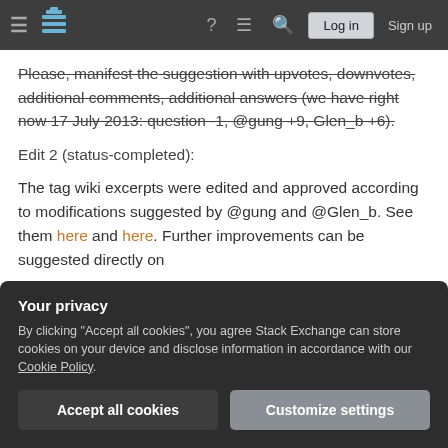Stack Exchange navigation bar with hamburger menu, logo, help, chat, search icons, Log in and Sign up buttons
Please, manifest the suggestion with upvotes, downvotes, additional comments, additional answers (we have right now 17 July 2013: question -1, @gung +9, Glen_b +6).
Edit 2 (status-completed):
The tag wiki excerpts were edited and approved according to modifications suggested by @gung and @Glen_b. See them here and here. Further improvements can be suggested directly on
Your privacy
By clicking "Accept all cookies", you agree Stack Exchange can store cookies on your device and disclose information in accordance with our Cookie Policy.
Accept all cookies   Customize settings